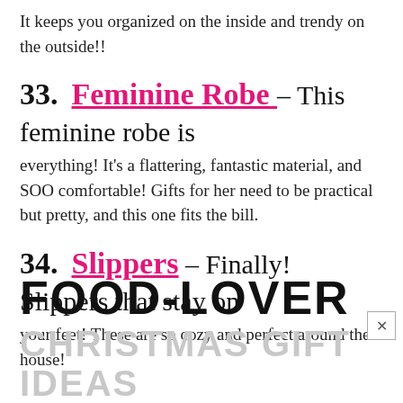It keeps you organized on the inside and trendy on the outside!!
33. Feminine Robe – This feminine robe is everything! It's a flattering, fantastic material, and SOO comfortable! Gifts for her need to be practical but pretty, and this one fits the bill.
34. Slippers – Finally! Slippers that stay on your feet! These are so cozy and perfect around the house!
FOOD-LOVER CHRISTMAS GIFT IDEAS